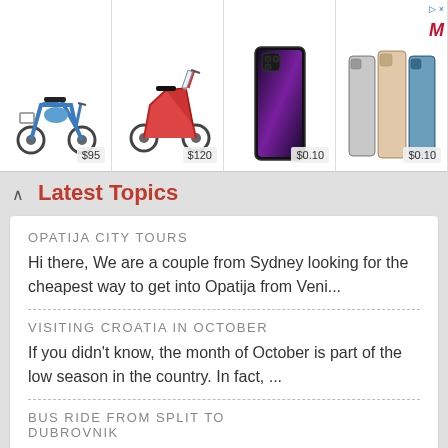[Figure (screenshot): Advertisement banner with scooters and phones. Blue electric scooter $95, red scooter $120, dark iPhone $0.10, phone stack $0.10, MediaMarkt logo.]
Latest Topics
OPATIJA CITY TOURS
Hi there, We are a couple from Sydney looking for the cheapest way to get into Opatija from Veni...
VISITING CROATIA IN OCTOBER
If you didn't know, the month of October is part of the low season in the country. In fact, ...
BUS RIDE FROM SPLIT TO DUBROVNIK